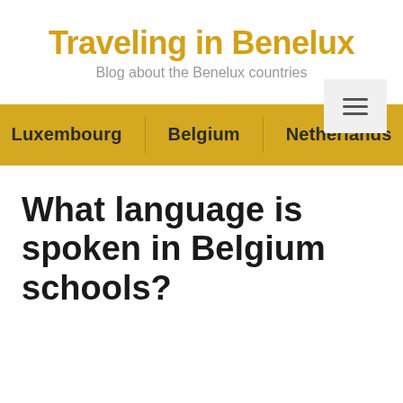Traveling in Benelux
Blog about the Benelux countries
Luxembourg | Belgium | Netherlands
What language is spoken in Belgium schools?